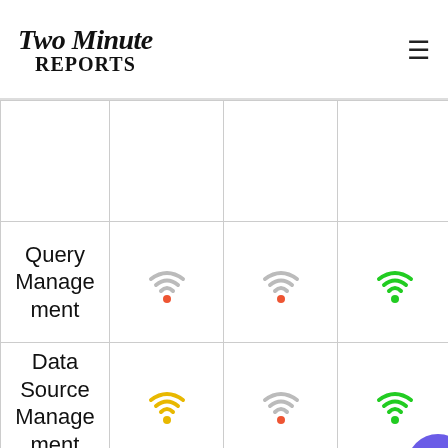Two Minute Reports
| Feature | Col1 | Col2 | Col3 |
| --- | --- | --- | --- |
|  |  |  |  |
| Query Management | signal-partial-red | signal-partial-red | signal-full-green |
| Data Source Management | signal-yellow | signal-partial-red | signal-full-green |
| Team Collabor | signal-yellow | signal-partial-red | signal-full-green |